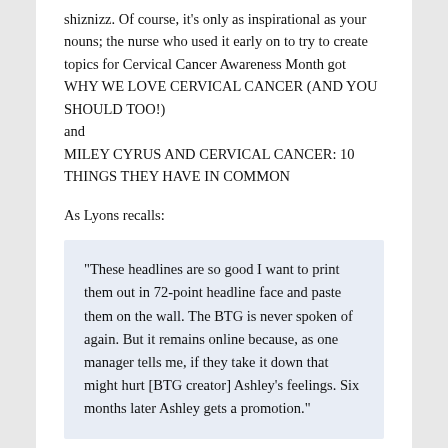by someone who thought they'd hit the shiznizz. Of course, it's only as inspirational as your nouns; the nurse who used it early on to try to create topics for Cervical Cancer Awareness Month got WHY WE LOVE CERVICAL CANCER (AND YOU SHOULD TOO!) and MILEY CYRUS AND CERVICAL CANCER: 10 THINGS THEY HAVE IN COMMON
As Lyons recalls:
“These headlines are so good I want to print them out in 72-point headline face and paste them on the wall. The BTG is never spoken of again. But it remains online because, as one manager tells me, if they take it down that might hurt [BTG creator] Ashley’s feelings. Six months later Ashley gets a promotion.”